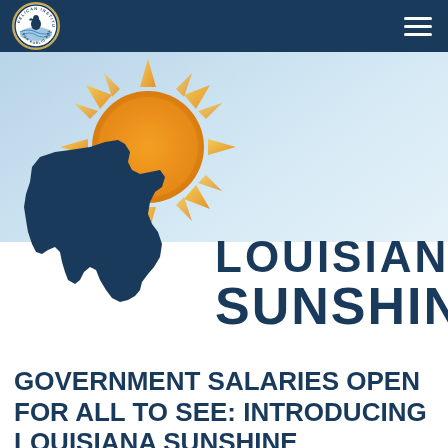[Figure (logo): Pelican Institute for Public Policy circular logo — white circle with blue border, pelican bird over water scene]
[Figure (illustration): Louisiana Sunshine branding banner: light blue gradient background, orange/yellow starburst sun with orange circle center, dark navy blue silhouette of Louisiana state map overlapping, text 'LOUISIANA SUNSHINE' in large dark navy bold letters to the right]
GOVERNMENT SALARIES OPEN FOR ALL TO SEE: INTRODUCING LOUISIANA SUNSHINE